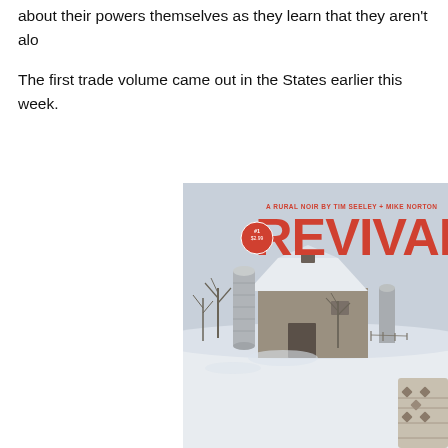about their powers themselves as they learn that they aren't alo
The first trade volume came out in the States earlier this week.
[Figure (illustration): Comic book cover for 'Revival', a rural noir by Tim Seeley + Mike Norton. Features large red text 'REVIVAL' with a price circle badge '$2.99 #1'. Illustrated winter scene showing a snow-covered barn with a grain silo, bare trees, and a figure in a patterned sweater in the lower right corner. Sky is pale blue-grey.]